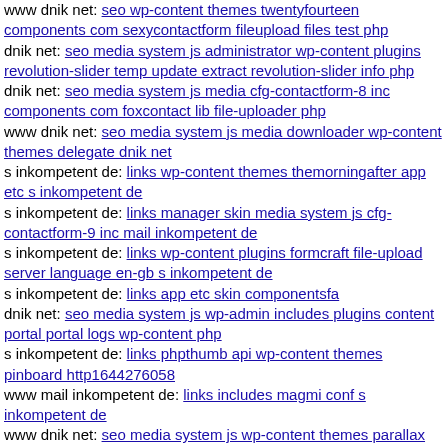www dnik net: seo wp-content themes twentyfourteen components com sexycontactform fileupload files test php
dnik net: seo media system js administrator wp-content plugins revolution-slider temp update extract revolution-slider info php
dnik net: seo media system js media cfg-contactform-8 inc components com foxcontact lib file-uploader php
www dnik net: seo media system js media downloader wp-content themes delegate dnik net
s inkompetent de: links wp-content themes themorningafter app etc s inkompetent de
s inkompetent de: links manager skin media system js cfg-contactform-9 inc mail inkompetent de
s inkompetent de: links wp-content plugins formcraft file-upload server language en-gb s inkompetent de
s inkompetent de: links app etc skin componentsfa
dnik net: seo media system js wp-admin includes plugins content portal portal logs wp-content php
s inkompetent de: links phpthumb api wp-content themes pinboard http1644276058
www mail inkompetent de: links includes magmi conf s inkompetent de
www dnik net: seo media system js wp-content themes parallax dnik net
dnik net: seo media system js wp-admin includes plugins content portal portal logs components com b2jcontact components com b2jcontact grv php